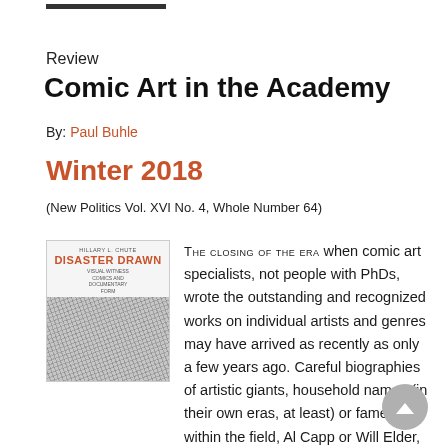Review
Comic Art in the Academy
By: Paul Buhle
Winter 2018
(New Politics Vol. XVI No. 4, Whole Number 64)
[Figure (illustration): Book cover of 'Disaster Drawn' by Hillary L. Chute, showing the title in red and a black and white illustrated scene below]
The closing of the era when comic art specialists, not people with PhDs, wrote the outstanding and recognized works on individual artists and genres may have arrived as recently as only a few years ago. Careful biographies of artistic giants, household names (in their own eras, at least) or fame only within the field, Al Capp or Will Elder, have conti...